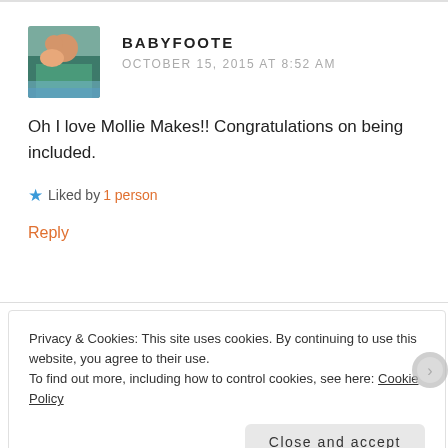[Figure (photo): Avatar photo of Babyfoote – woman holding a child, outdoors near water]
BABYFOOTE
OCTOBER 15, 2015 AT 8:52 AM
Oh I love Mollie Makes!! Congratulations on being included.
★ Liked by 1 person
Reply
Privacy & Cookies: This site uses cookies. By continuing to use this website, you agree to their use.
To find out more, including how to control cookies, see here: Cookie Policy
Close and accept